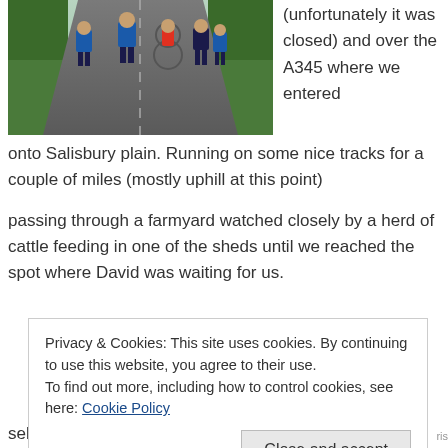[Figure (photo): Runners and a cyclist on a narrow country road with green hedges on either side, viewed from behind. Participants wearing blue tops and dark shorts.]
(unfortunately it was closed) and over the A345 where we entered onto Salisbury plain. Running on some nice tracks for a couple of miles (mostly uphill at this point)
passing through a farmyard watched closely by a herd of cattle feeding in one of the sheds until we reached the spot where David was waiting for us.
Privacy & Cookies: This site uses cookies. By continuing to use this website, you agree to their use.
To find out more, including how to control cookies, see here: Cookie Policy
Close and accept
selectio